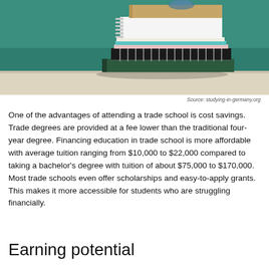[Figure (photo): Stack of notebooks and textbooks piled on a surface against a green chalkboard background]
Source: studying-in-germany.org
One of the advantages of attending a trade school is cost savings. Trade degrees are provided at a fee lower than the traditional four-year degree. Financing education in trade school is more affordable with average tuition ranging from $10,000 to $22,000 compared to taking a bachelor's degree with tuition of about $75,000 to $170,000. Most trade schools even offer scholarships and easy-to-apply grants. This makes it more accessible for students who are struggling financially.
Earning potential